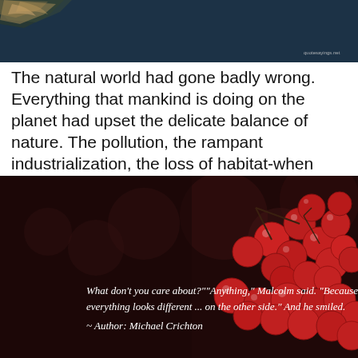[Figure (photo): Top image showing a bird with spread wings against a dark blue background. Small watermark text reads 'quotesayings.net' in the lower right.]
The natural world had gone badly wrong. Everything that mankind is doing on the planet had upset the delicate balance of nature. The pollution, the rampant industrialization, the loss of habitat-when animals were squeezed and cornered, they behave viciously, in a desperate effort to survive. — Michael Crichton
[Figure (photo): Bottom image showing red berries (holly or winter berries) on dark background with bokeh lighting. Overlaid white italic text reads: What don't you care about?""Anything," Malcolm said. "Because ... everything looks different ... on the other side." And he smiled. ~ Author: Michael Crichton]